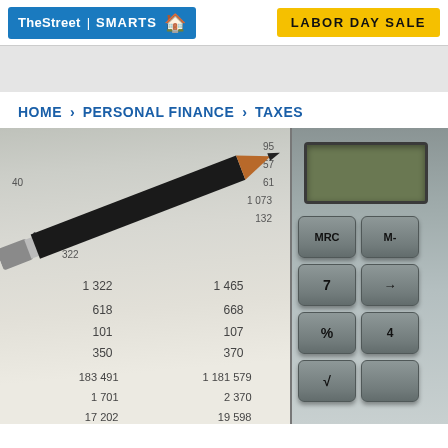TheStreet | SMARTS  |  LABOR DAY SALE
HOME > PERSONAL FINANCE > TAXES
[Figure (photo): Close-up photo of a pencil resting on a financial document with numbers, next to a calculator showing MRC, M-, %, and other keys]